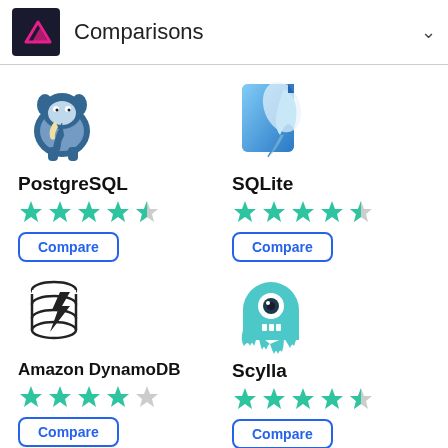Comparisons
PostgreSQL
SQLite
Amazon DynamoDB
Scylla